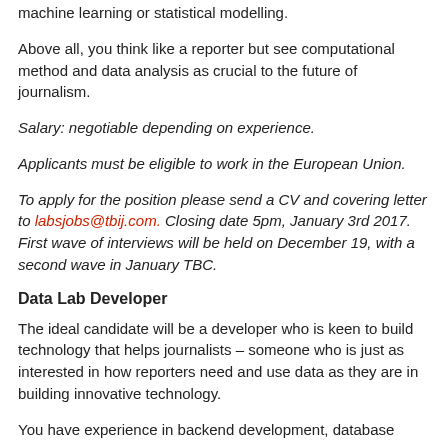machine learning or statistical modelling.
Above all, you think like a reporter but see computational method and data analysis as crucial to the future of journalism.
Salary: negotiable depending on experience.
Applicants must be eligible to work in the European Union.
To apply for the position please send a CV and covering letter to labsjobs@tbij.com. Closing date 5pm, January 3rd 2017. First wave of interviews will be held on December 19, with a second wave in January TBC.
Data Lab Developer
The ideal candidate will be a developer who is keen to build technology that helps journalists – someone who is just as interested in how reporters need and use data as they are in building innovative technology.
You have experience in backend development, database